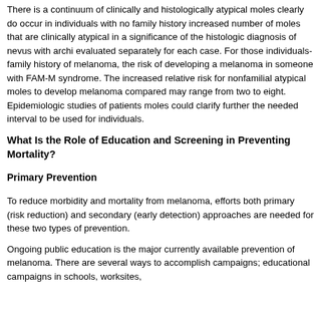There is a continuum of clinically and histologically atypi... moles clearly do occur in individuals with no family histor... increased number of moles that are clinically atypical in a... significance of the histologic diagnosis of nevus with arch... evaluated separately for each case. For those individuals... family history of melanoma, the risk of developing a mela... in someone with FAM-M syndrome. The increased relativ... nonfamilial atypical moles to develop melanoma compare... may range from two to eight. Epidemiologic studies of pa... moles could clarify further the needed interval to be used... individuals.
What Is the Role of Education and Screening in Prev... Mortality?
Primary Prevention
To reduce morbidity and mortality from melanoma, efforts... both primary (risk reduction) and secondary (early detect... approaches are needed for these two types of prevention...
Ongoing public education is the major currently available... prevention of melanoma. There are several ways to acco... campaigns; educational campaigns in schools, worksites...